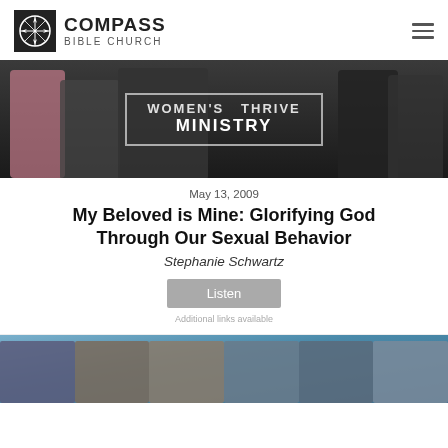[Figure (logo): Compass Bible Church logo with compass rose icon and text]
[Figure (photo): Women's Ministry banner photo with group of women and text overlay reading WOMEN'S MINISTRY]
May 13, 2009
My Beloved is Mine: Glorifying God Through Our Sexual Behavior
Stephanie Schwartz
[Figure (other): Listen button (gray button)]
[Figure (photo): Photo of group of women wearing caps and sunglasses outdoors]